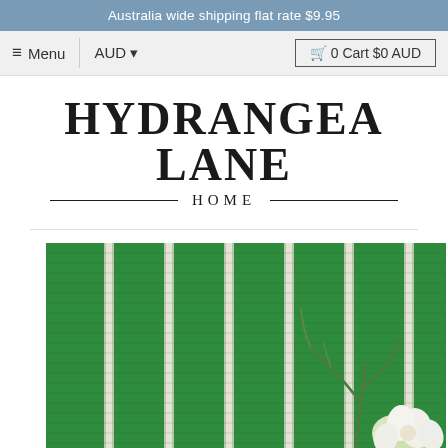Australia wide shipping flat rate $9.95
≡ Menu  AUD ▾  🛒 0 Cart $0 AUD
[Figure (logo): Hydrangea Lane Home logo — large serif uppercase text with horizontal lines flanking the word HOME]
[Figure (photo): Close-up photo of a green and white striped woven rug with a small green succulent plant placed on the right side]